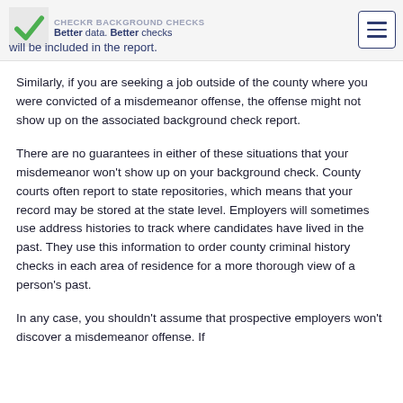Better data. Better checks | will be included in the report.
Similarly, if you are seeking a job outside of the county where you were convicted of a misdemeanor offense, the offense might not show up on the associated background check report.
There are no guarantees in either of these situations that your misdemeanor won't show up on your background check. County courts often report to state repositories, which means that your record may be stored at the state level. Employers will sometimes use address histories to track where candidates have lived in the past. They use this information to order county criminal history checks in each area of residence for a more thorough view of a person's past.
In any case, you shouldn't assume that prospective employers won't discover a misdemeanor offense. If